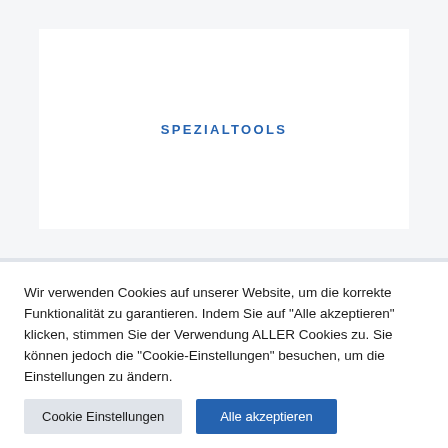SPEZIALTOOLS
Wir verwenden Cookies auf unserer Website, um die korrekte Funktionalität zu garantieren. Indem Sie auf "Alle akzeptieren" klicken, stimmen Sie der Verwendung ALLER Cookies zu. Sie können jedoch die "Cookie-Einstellungen" besuchen, um die Einstellungen zu ändern.
Cookie Einstellungen
Alle akzeptieren